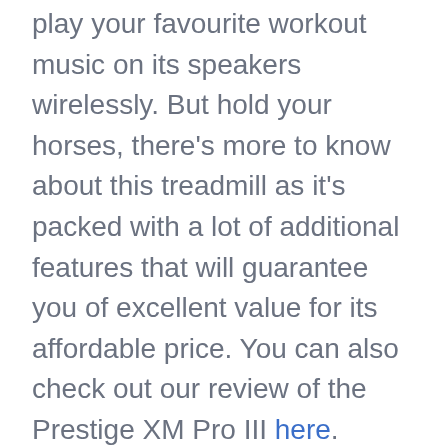play your favourite workout music on its speakers wirelessly. But hold your horses, there's more to know about this treadmill as it's packed with a lot of additional features that will guarantee you of excellent value for its affordable price. You can also check out our review of the Prestige XM Pro III here.
No products found. Detailed Review